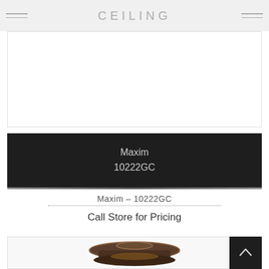CEILING
[Figure (photo): Empty white product image placeholder area]
Maxim
10222GC
Maxim – 10222GC
Call Store for Pricing
[Figure (photo): Ceiling light fixture photo - dark bronze round flush mount ceiling light]